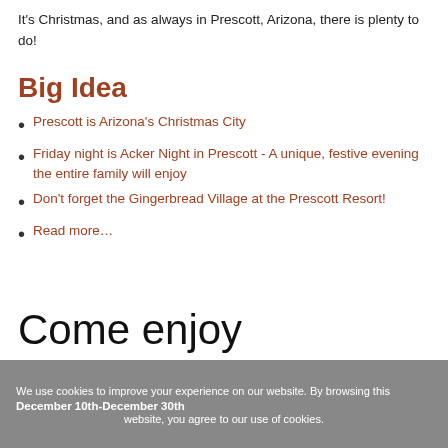It's Christmas, and as always in Prescott, Arizona, there is plenty to do!
Big Idea
Prescott is Arizona's Christmas City
Friday night is Acker Night in Prescott - A unique, festive evening the entire family will enjoy
Don't forget the Gingerbread Village at the Prescott Resort!
Read more…
Come enjoy  Prescott, Arizona this weekend!
We use cookies to improve your experience on our website. By browsing this website, you agree to our use of cookies.
December 10th-December 30th